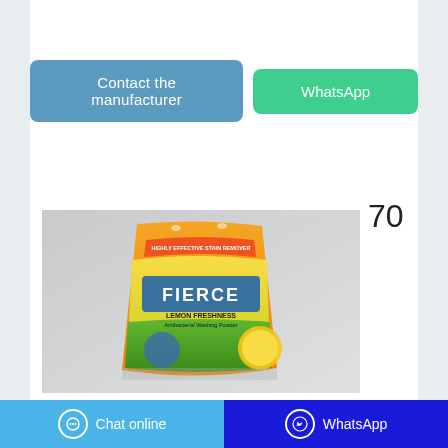Contact the manufacturer
WhatsApp
70
[Figure (photo): A bag of Fierce Lemon Freshness antibacterial washing powder with orange/yellow packaging, shown on a grey background]
Factory stores to check out in South Africa! - You ...
Factory Shops SA is an ecosystem that allows you to sell, advertise and deliver your products to thousands of factory shopping fans nationwide. If you would like to utilise our innovative mobile app (downloaded over 158,000 times), our social media platform and
Chat online  WhatsApp